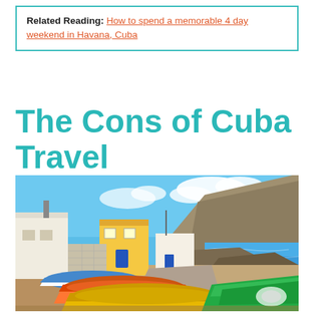Related Reading: How to spend a memorable 4 day weekend in Havana, Cuba
The Cons of Cuba Travel
[Figure (photo): Colorful fishing boats (orange, blue, green) pulled up on shore in a coastal village with white and yellow buildings, rocky hillside, and blue sea under bright blue sky with clouds.]